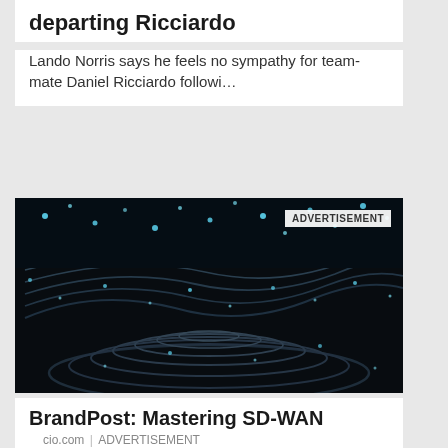departing Ricciardo
Lando Norris says he feels no sympathy for team-mate Daniel Ricciardo followi…
[Figure (photo): Abstract dark topographic/circuit-board style image with glowing blue-white dots and contour lines, used as advertisement imagery. ADVERTISEMENT label overlaid top-right.]
BrandPost: Mastering SD-WAN Deployments
cio.com | ADVERTISEMENT
[Figure (photo): Bottom strip showing partial images: a red branded item on dark background, a man's portrait, and a dark image, with ADVERTISEMENT label overlaid.]